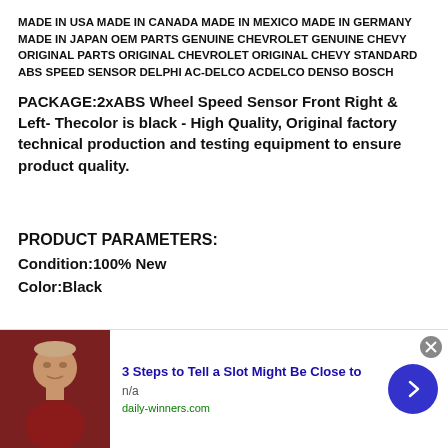MADE IN USA MADE IN CANADA MADE IN MEXICO MADE IN GERMANY MADE IN JAPAN OEM PARTS GENUINE CHEVROLET GENUINE CHEVY ORIGINAL PARTS ORIGINAL CHEVROLET ORIGINAL CHEVY STANDARD ABS SPEED SENSOR DELPHI AC-DELCO ACDELCO DENSO BOSCH
PACKAGE:2xABS Wheel Speed Sensor Front Right & Left- Thecolor is black - High Quality, Original factory technical production and testing equipment to ensure product quality.
PRODUCT PARAMETERS:
Condition:100% New
Color:Black
[Figure (other): Advertisement banner showing a man's photo, title '3 Steps to Tell a Slot Might Be Close to', source 'n/a', domain 'daily-winners.com', with close button and arrow navigation button]